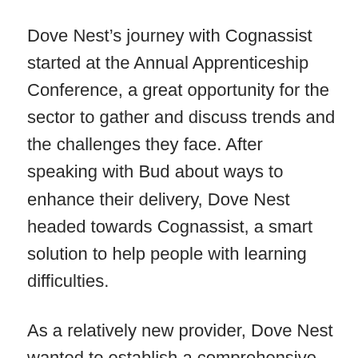Dove Nest’s journey with Cognassist started at the Annual Apprenticeship Conference, a great opportunity for the sector to gather and discuss trends and the challenges they face. After speaking with Bud about ways to enhance their delivery, Dove Nest headed towards Cognassist, a smart solution to help people with learning difficulties.
As a relatively new provider, Dove Nest wanted to establish a comprehensive approach to learning support, making sure no learner was left behind. While they were aware of the potential financial aspect and the ability to claim funding for learner